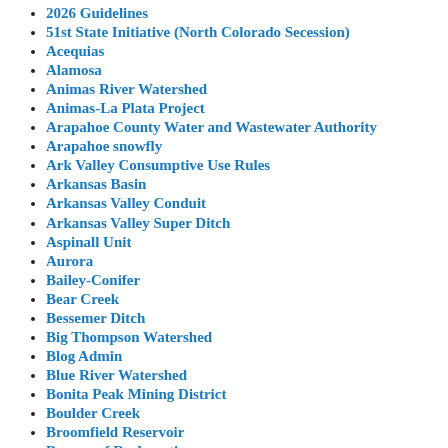2026 Guidelines
51st State Initiative (North Colorado Secession)
Acequias
Alamosa
Animas River Watershed
Animas-La Plata Project
Arapahoe County Water and Wastewater Authority
Arapahoe snowfly
Ark Valley Consumptive Use Rules
Arkansas Basin
Arkansas Valley Conduit
Arkansas Valley Super Ditch
Aspinall Unit
Aurora
Bailey-Conifer
Bear Creek
Bessemer Ditch
Big Thompson Watershed
Blog Admin
Blue River Watershed
Bonita Peak Mining District
Boulder Creek
Broomfield Reservoir
Bureau of Reclamation
California Gulch